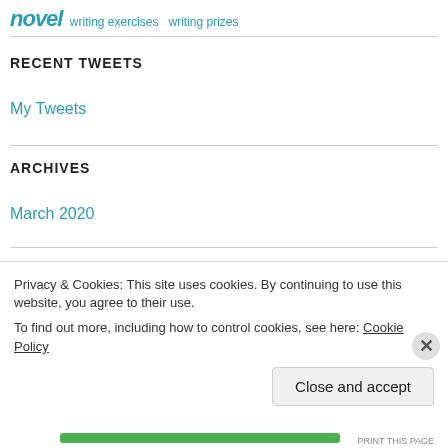novel writing exercises writing prizes
RECENT TWEETS
My Tweets
ARCHIVES
March 2020
Privacy & Cookies: This site uses cookies. By continuing to use this website, you agree to their use. To find out more, including how to control cookies, see here: Cookie Policy
Close and accept